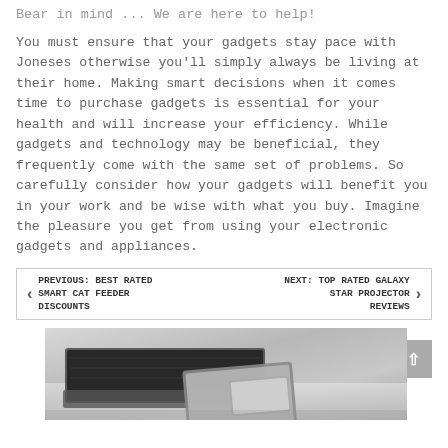Bear in mind ... We are here to help!
You must ensure that your gadgets stay pace with Joneses otherwise you’ll simply always be living at their home. Making smart decisions when it comes time to purchase gadgets is essential for your health and will increase your efficiency. While gadgets and technology may be beneficial, they frequently come with the same set of problems. So carefully consider how your gadgets will benefit you in your work and be wise with what you buy. Imagine the pleasure you get from using your electronic gadgets and appliances.
PREVIOUS: BEST RATED SMART CAT FEEDER DISCOUNTS
NEXT: TOP RATED GALAXY STAR PROJECTOR REVIEWS
[Figure (photo): A black and white photo of a laptop with a smartphone and tablet resting on top of it, on a desk surface.]